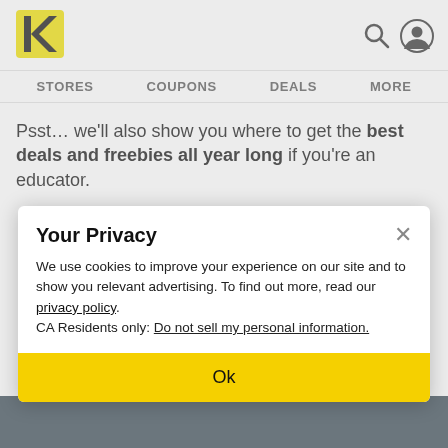[Figure (logo): Yellow K logo (Krazy Coupon Lady) — yellow rectangle with black K shape]
STORES   COUPONS   DEALS   MORE
Psst… we'll also show you where to get the best deals and freebies all year long if you're an educator.
Your Privacy
We use cookies to improve your experience on our site and to show you relevant advertising. To find out more, read our privacy policy.
CA Residents only: Do not sell my personal information.
Ok